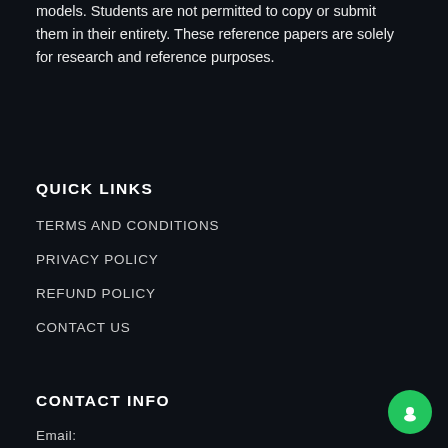models. Students are not permitted to copy or submit them in their entirety. These reference papers are solely for research and reference purposes.
QUICK LINKS
TERMS AND CONDITIONS
PRIVACY POLICY
REFUND POLICY
CONTACT US
CONTACT INFO
Email: